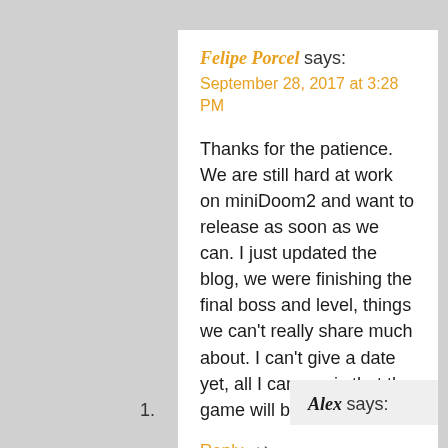Felipe Porcel says:
September 28, 2017 at 3:28 PM
Thanks for the patience. We are still hard at work on miniDoom2 and want to release as soon as we can. I just updated the blog, we were finishing the final boss and level, things we can't really share much about. I can't give a date yet, all I can say is that the game will be out this 2017.
Reply
1.
Alex says: